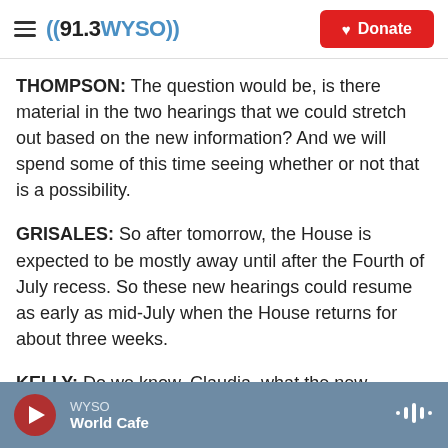((91.3 WYSO)) | Donate
THOMPSON: The question would be, is there material in the two hearings that we could stretch out based on the new information? And we will spend some of this time seeing whether or not that is a possibility.
GRISALES: So after tomorrow, the House is expected to be mostly away until after the Fourth of July recess. So these new hearings could resume as early as mid-July when the House returns for about three weeks.
KELLY: Do we know, Claudia, what the new
WYSO | World Cafe